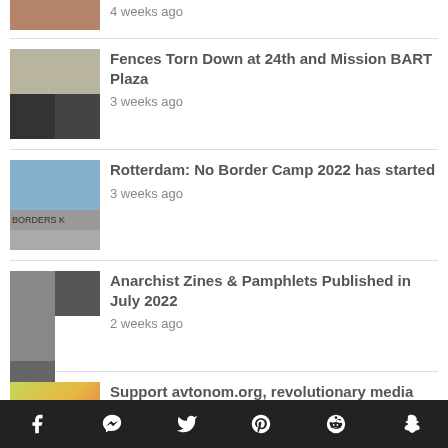4 weeks ago
[Figure (photo): Thumbnail image of protest sign at BART police station]
Fences Torn Down at 24th and Mission BART Plaza
3 weeks ago
[Figure (photo): Blue sky and building with BORDERS K text visible]
Rotterdam: No Border Camp 2022 has started
3 weeks ago
[Figure (photo): Anarchist zines collage thumbnails]
Anarchist Zines & Pamphlets Published in July 2022
2 weeks ago
[Figure (photo): Colorful art image]
Support avtonom.org, revolutionary media struggling
Facebook Messenger Twitter Pinterest Reddit Snapchat